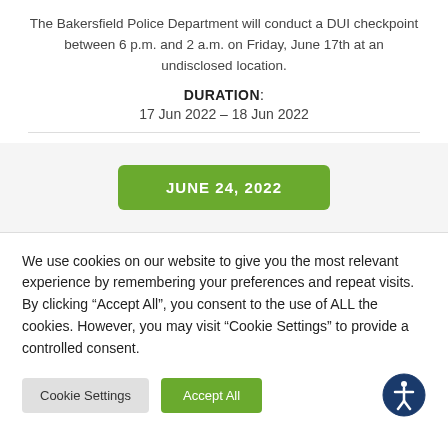The Bakersfield Police Department will conduct a DUI checkpoint between 6 p.m. and 2 a.m. on Friday, June 17th at an undisclosed location.
DURATION: 17 Jun 2022 – 18 Jun 2022
[Figure (other): Green button labeled JUNE 24, 2022]
We use cookies on our website to give you the most relevant experience by remembering your preferences and repeat visits. By clicking “Accept All”, you consent to the use of ALL the cookies. However, you may visit "Cookie Settings" to provide a controlled consent.
Cookie Settings
Accept All